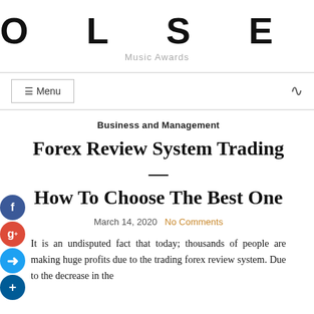OLSEN
Music Awards
Business and Management
Forex Review System Trading—How To Choose The Best One
March 14, 2020  No Comments
It is an undisputed fact that today; thousands of people are making huge profits due to the trading forex review system. Due to the decrease in the